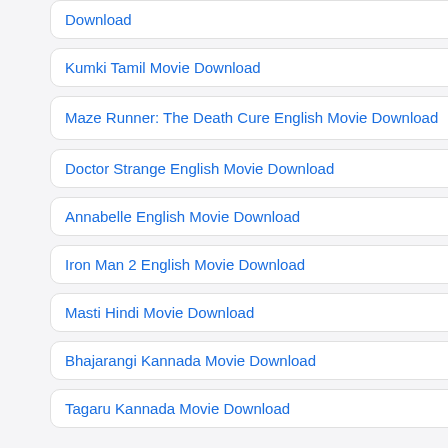Download
Kumki Tamil Movie Download
Maze Runner: The Death Cure English Movie Download
Doctor Strange English Movie Download
Annabelle English Movie Download
Iron Man 2 English Movie Download
Masti Hindi Movie Download
Bhajarangi Kannada Movie Download
Tagaru Kannada Movie Download